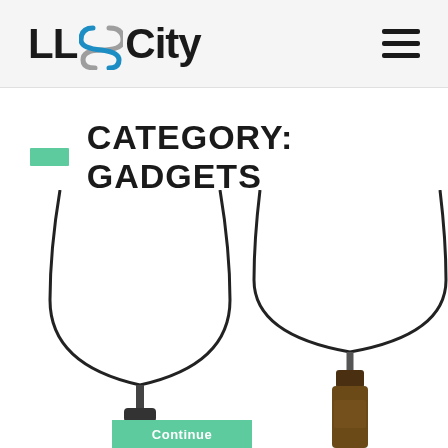LL City
CATEGORY: GADGETS
[Figure (photo): Two wine glasses that attach to bottle tops: left shows a standalone upright wine glass with a cork-screw stopper at the bottom; right shows the same type of glass sitting atop an open wine bottle neck, both against a white background.]